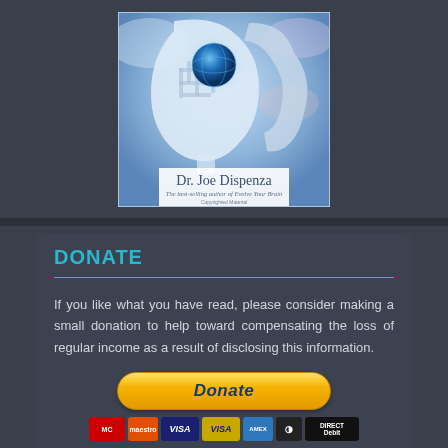[Figure (photo): Book cover for Dr. Joe Dispenza – The best-selling author of Evolve Your Brain. Shows illustrated human head profiles with a glowing blue sphere/brain, cosmic background.]
DONATE
If you like what you have read, please consider making a small donation to help toward compensating the loss of regular income as a result of disclosing this information.
[Figure (other): PayPal Donate button (yellow rounded button with italic bold 'Donate' text) and payment card icons: MasterCard, Maestro, VISA, VISA Electron, American Express, Diners/Discover, Direct Debit]